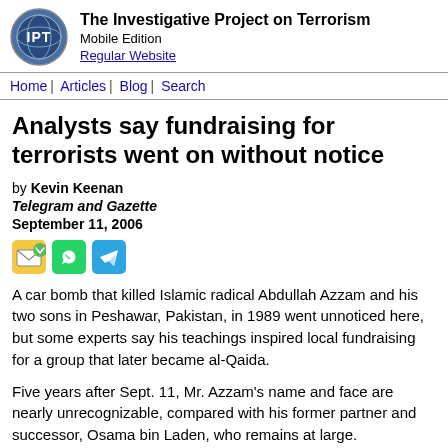The Investigative Project on Terrorism
Mobile Edition
Regular Website
Home | Articles | Blog | Search
Analysts say fundraising for terrorists went on without notice
by Kevin Keenan
Telegram and Gazette
September 11, 2006
[Figure (illustration): Three social sharing icons: email/envelope (green), WhatsApp (green circle), Telegram (blue arrow)]
A car bomb that killed Islamic radical Abdullah Azzam and his two sons in Peshawar, Pakistan, in 1989 went unnoticed here, but some experts say his teachings inspired local fundraising for a group that later became al-Qaida.
Five years after Sept. 11, Mr. Azzam's name and face are nearly unrecognizable, compared with his former partner and successor, Osama bin Laden, who remains at large.